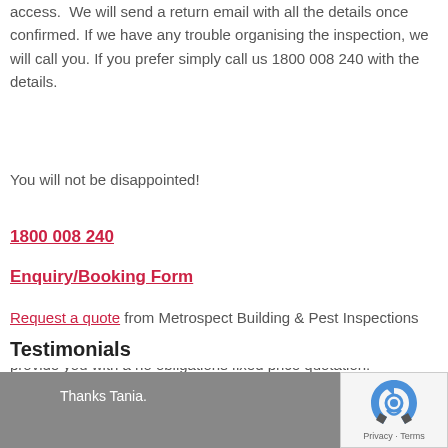access.  We will send a return email with all the details once confirmed. If we have any trouble organising the inspection, we will call you. If you prefer simply call us 1800 008 240 with the details.
You will not be disappointed!
1800 008 240
Enquiry/Booking Form
Request a quote from Metrospect Building & Pest Inspections today or call 1800 008 240 and our professional staff will provide you with a no obligations fixed price quotation.
Testimonials
Thanks Tania.